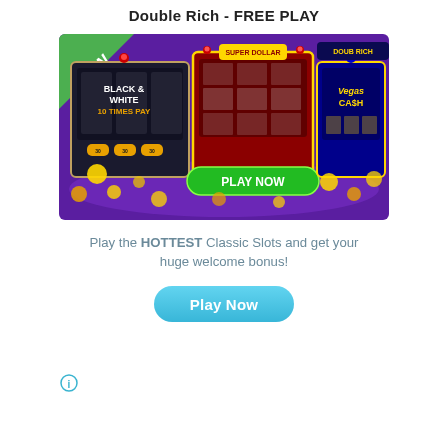Double Rich - FREE PLAY
[Figure (screenshot): Casino slot machine game promotional banner showing three slot machines including Black & White 10 Times Pay, Super Dollar, and Vegas Cash with a green PLAY NOW button and gold coins. A green NEW badge is in the top left corner.]
Play the HOTTEST Classic Slots and get your huge welcome bonus!
[Figure (other): Blue rounded Play Now button]
[Figure (other): Info icon (circle with i) in bottom left]